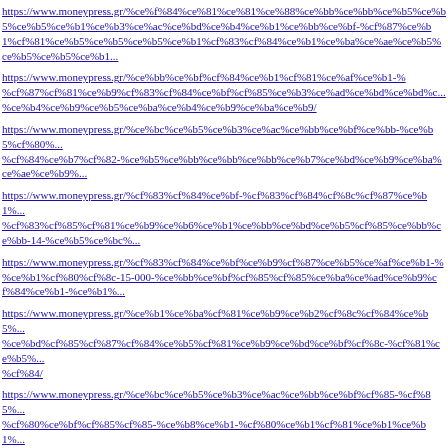https://www.moneypress.gr/%ce%f%84%ce%81%ce%81%ce%88%ce%bb%ce%bb%ce%b5%...%ce%b3%ce%ba%ce%ac%ce%bd%ce%b4%ce%b1%ce%bb%ce%bf-%cf%87%ce%b1%cf%81%
https://www.moneypress.gr/%ce%bb%ce%bf%cf%84%ce%b1%cf%81%ce%af%ce%b1-%cf%87%cf%81%ce%b9%cf%83%cf%84%ce%bf%cf%85%ce%b3%ce%ad%ce%bd%ce%bd%...%ce%b4%ce%b9%ce%b5%ce%ba%ce%b4%ce%b9%ce%ba%ce%ba%ce%b9%ce%ba%ce%b9/
https://www.moneypress.gr/%ce%bc%ce%b5%ce%b3%ce%ac%ce%bb%ce%bf-%ce%b7-%cf%80...%cf%84%ce%b7%cf%82-%ce%b5%ce%bb%ce%bb%ce%bb%ce%b7%ce%bd%ce%b9%ce%ba%ce%ae%...
https://www.moneypress.gr/%cf%83%cf%84%ce%bf-%cf%83%cf%84%cf%8c%cf%87%ce%b1...%cf%83%cf%85%cf%81%ce%b9%ce%b6%ce%b1%ce%bb%ce%bd%ce%b5%ce%bb%ce%bb-14-%ce%b5%ce%bc...
https://www.moneypress.gr/%cf%83%cf%84%ce%bf%ce%b9%cf%87%ce%b5%ce%af%ce%b1-%ce%b1%cf%80%cf%8c-15-000-%ce%bb%ce%bf%cf%85%cf%85%ce%ba%ce%ad%ce%b9%cf%84%ce%b1-%...
https://www.moneypress.gr/%ce%b1%ce%ba%cf%81%ce%b9%ce%b2%cf%8c%cf%84%ce%b5...%ce%bd%cf%85%cf%87%cf%84%ce%b5%cf%81%ce%b9%ce%bd%ce%bf%cf%8c-%cf%81%ce%b5%...%cf%84/
https://www.moneypress.gr/%ce%bc%ce%b5%ce%b3%ce%ac%ce%bb%ce%bf%cf%85-%cf%85...%cf%80%ce%bf%cf%85%cf%85-%ce%b8%ce%b1-%cf%80%ce%b1%cf%81%ce%b1%ce%b1...
https://www.moneypress.gr/%cf%80%ce%bf%ce%b9%ce%b5%cf%82-%ce%b5%ce%af%ce%bd...%cf%84%cf%81%ce%b5%ce%b9%cf%82-%ce%b1%ce%bb%ce%bb%ce%b1%ce%b3%ce%b1%ce%b3%ce%ad%...
https://www.moneypress.gr/%ce%b5%cf%81%ce%bd%cf%84%cf%84%ce%bf%ce%b3%ce%b1%ce%bd%ce%b5...%ce%b1%cf%83%cf%85%ce%bd%ce%b1%cf%81%cf%84%ce%b7%cf%83%ce%b9%cf%8e%...
https://www.moneypress.gr/%ce%b7-%ce%ba%ce%bb%ce%ae%cf%81%cf%89%cf%83%ce%b7%...20122017/
https://www.moneypress.gr/%ce%bb%ce%bf%cf%84%ce%b1%cf%81%ce%af%ce%b1-%ce%b1%cf%80%ce%bf%cf%84%ce%b5%ce%af%ce%be%ce%b5%cf%89%ce%bd-%ce%ad%cf%80%...%cf%84%ce%bf-%cf%84%ce%b6%ce%b1%ce%ba/
https://www.moneypress.gr/%cf%83%cf%84%ce%b9%cf%82-7-%ce%b9%ce%b1%ce%bd%ce%...%ce%b5%cf%80%ce%b1%cf%86%ce%ac%ce%b2-cdu-spd-%ce%b3%ce%b9%ce%b1-%cf%84%...